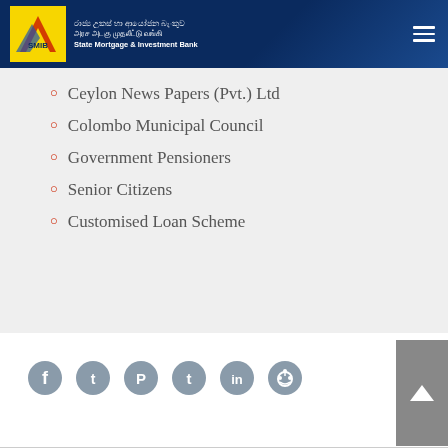State Mortgage & Investment Bank
Ceylon News Papers (Pvt.) Ltd
Colombo Municipal Council
Government Pensioners
Senior Citizens
Customised Loan Scheme